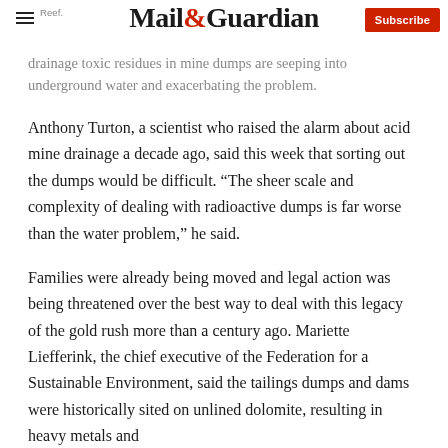Mail & Guardian — Subscribe
Reef. drainage toxic residues in mine dumps are seeping into underground water and exacerbating the problem.
Anthony Turton, a scientist who raised the alarm about acid mine drainage a decade ago, said this week that sorting out the dumps would be difficult. “The sheer scale and complexity of dealing with radioactive dumps is far worse than the water problem,” he said.
Families were already being moved and legal action was being threatened over the best way to deal with this legacy of the gold rush more than a century ago. Mariette Liefferink, the chief executive of the Federation for a Sustainable Environment, said the tailings dumps and dams were historically sited on unlined dolomite, resulting in heavy metals and